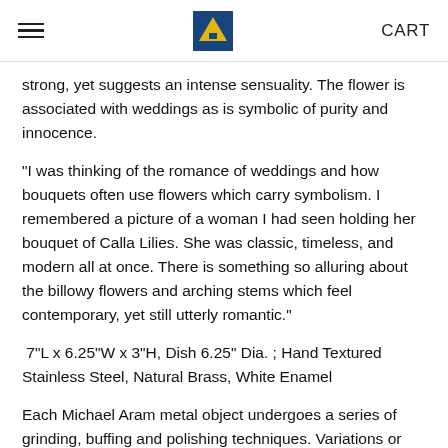CART
strong, yet suggests an intense sensuality. The flower is associated with weddings as is symbolic of purity and innocence.
"I was thinking of the romance of weddings and how bouquets often use flowers which carry symbolism. I remembered a picture of a woman I had seen holding her bouquet of Calla Lilies. She was classic, timeless, and modern all at once. There is something so alluring about the billowy flowers and arching stems which feel contemporary, yet still utterly romantic."
7"L x 6.25"W x 3"H, Dish 6.25" Dia. ; Hand Textured Stainless Steel, Natural Brass, White Enamel
Each Michael Aram metal object undergoes a series of grinding, buffing and polishing techniques. Variations or 'imperfections' in the product's finish are characteristic of the